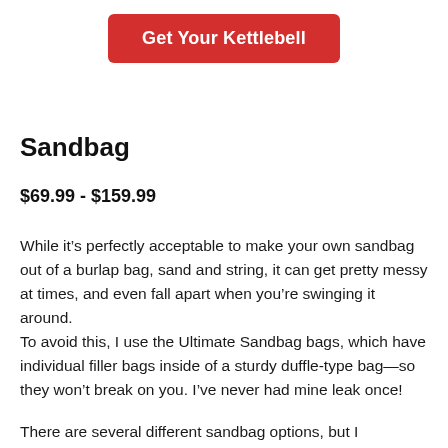[Figure (other): Red button with white text reading 'Get Your Kettlebell']
Sandbag
$69.99 - $159.99
While it’s perfectly acceptable to make your own sandbag out of a burlap bag, sand and string, it can get pretty messy at times, and even fall apart when you’re swinging it around.
To avoid this, I use the Ultimate Sandbag bags, which have individual filler bags inside of a sturdy duffle-type bag—so they won’t break on you. I’ve never had mine leak once!
There are several different sandbag options, but I recommend